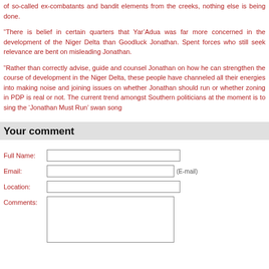of so-called ex-combatants and bandit elements from the creeks, nothing else is being done.
“There is belief in certain quarters that Yar’Adua was far more concerned in the development of the Niger Delta than Goodluck Jonathan. Spent forces who still seek relevance are bent on misleading Jonathan.
“Rather than correctly advise, guide and counsel Jonathan on how he can strengthen the course of development in the Niger Delta, these people have channeled all their energies into making noise and joining issues on whether Jonathan should run or whether zoning in PDP is real or not. The current trend amongst Southern politicians at the moment is to sing the ‘Jonathan Must Run’ swan song
Your comment
Full Name:
Email:
Location:
Comments: